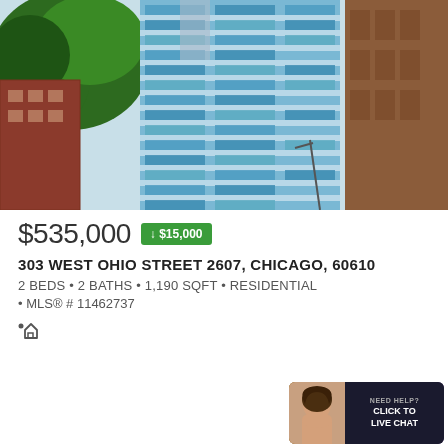[Figure (photo): Upward-angle photo of a tall modern glass-and-steel skyscraper with blue reflective windows, flanked by trees and adjacent brick buildings, against a bright sky.]
$535,000
↓ $15,000
303 WEST OHIO STREET 2607, CHICAGO, 60610
2 BEDS • 2 BATHS • 1,190 SQFT • RESIDENTIAL
• MLS® # 11462737